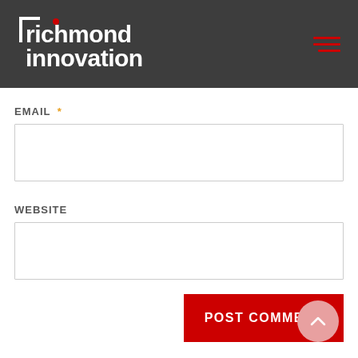richmond innovation
EMAIL *
WEBSITE
POST COMMENT